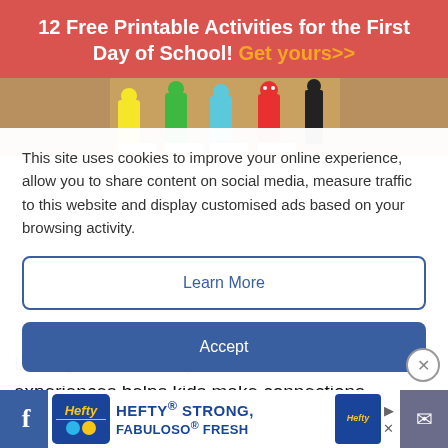12 Free Printable Activities for the First Day of School! Get yours>>
[Figure (photo): Colorful toy figurines on a wooden table surface]
This site uses cookies to improve your online experience, allow you to share content on social media, measure traffic to this website and display customised ads based on your browsing activity.
Learn More
Accept
Linking Zones of Regulation activities to fun experiences helps kids make connections. For
[Figure (advertisement): Hefty HEFTY STRONG, FABULOSO FRESH advertisement banner]
Facebook and email social sharing bar